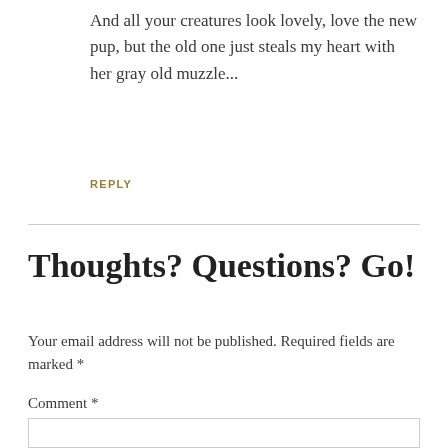And all your creatures look lovely, love the new pup, but the old one just steals my heart with her gray old muzzle...
REPLY
Thoughts? Questions? Go!
Your email address will not be published. Required fields are marked *
Comment *